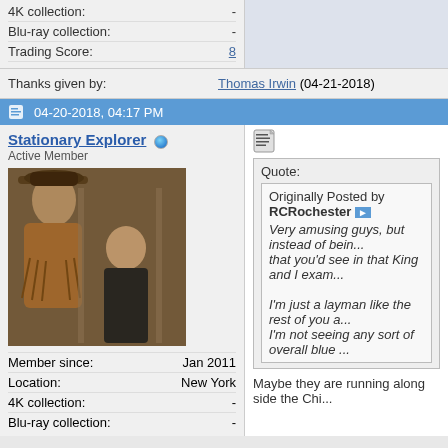| 4K collection: | - |
| Blu-ray collection: | - |
| Trading Score: | 8 |
Thanks given by: Thomas Irwin (04-21-2018)
04-20-2018, 04:17 PM
Stationary Explorer  Active Member
[Figure (photo): Avatar photo of two men, one in a fringed leather jacket and hat, one in a dark turtleneck]
| Member since: | Jan 2011 |
| Location: | New York |
| 4K collection: | - |
| Blu-ray collection: | - |
Quote: Originally Posted by RCRochester  Very amusing guys, but instead of being... that you'd see in that King and I exam... I'm just a layman like the rest of you a... I'm not seeing any sort of overall blue...
Maybe they are running along side the Chi...